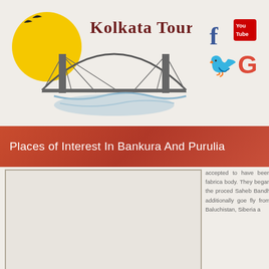[Figure (logo): Kolkata Tours logo with Howrah Bridge illustration and yellow sun, birds silhouette, and text 'Kolkata Tours']
[Figure (infographic): Social media icons: Facebook (f), YouTube, Twitter (bird), Google (G+)]
Places of Interest In Bankura And Purulia
[Figure (photo): Image placeholder for a photo related to Bankura and Purulia]
accepted to have been fabrica body. They began the proced Saheb Bandh additionally goe fly from Baluchistan, Siberia a